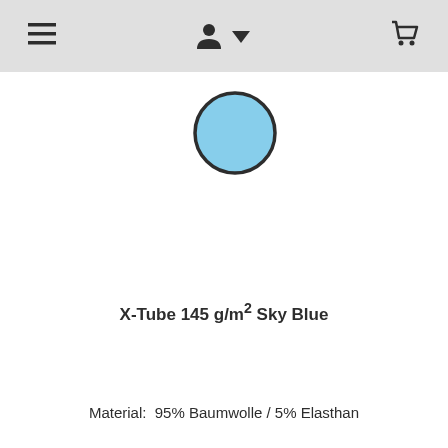Navigation bar with menu, user/download, and cart icons
[Figure (other): Sky blue color swatch circle with dark border]
X-Tube 145 g/m² Sky Blue
Material:  95% Baumwolle / 5% Elasthan